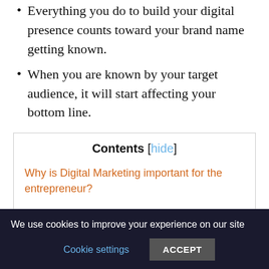Everything you do to build your digital presence counts toward your brand name getting known.
When you are known by your target audience, it will start affecting your bottom line.
Contents [hide]
Why is Digital Marketing important for the entrepreneur?
Requirements for an entrepreneur that Digital Marketing can provide:
How to use Digital Marketing for the startups:
We use cookies to improve your experience on our site
Cookie settings   ACCEPT